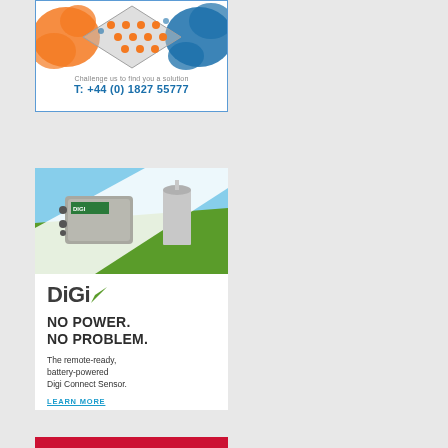[Figure (illustration): Advertisement box with orange and blue paint splash, geometric diamond pattern with dots, text 'Challenge us to find you a solution', phone number T: +44 (0) 1827 55777, blue border]
[Figure (illustration): Digi advertisement showing a hardware sensor device and grain silo in a green field background, with DIGI logo, NO POWER. NO PROBLEM. headline, description of Digi Connect Sensor, and LEARN MORE link]
[Figure (illustration): Partial red advertisement box at bottom of page]